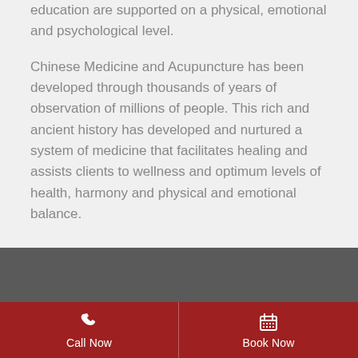education are supported on a physical, emotional and psychological level.
Chinese Medicine and Acupuncture has been developed through thousands of years of observation of millions of people. This rich and ancient history has developed and nurtured a system of medicine that facilitates healing and assists clients to wellness and optimum levels of health, harmony and physical and emotional balance.
Call Now
Book Now